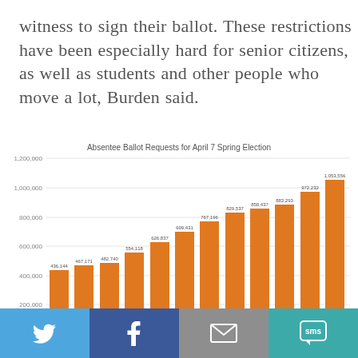witness to sign their ballot. These restrictions have been especially hard for senior citizens, as well as students and other people who move a lot, Burden said.
[Figure (bar-chart): Absentee Ballot Requests for April 7 Spring Election]
Twitter | Facebook | Email | SMS